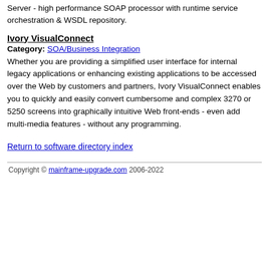Server - high performance SOAP processor with runtime service orchestration & WSDL repository.
Ivory VisualConnect
Category: SOA/Business Integration
Whether you are providing a simplified user interface for internal legacy applications or enhancing existing applications to be accessed over the Web by customers and partners, Ivory VisualConnect enables you to quickly and easily convert cumbersome and complex 3270 or 5250 screens into graphically intuitive Web front-ends - even add multi-media features - without any programming.
Return to software directory index
Copyright © mainframe-upgrade.com 2006-2022